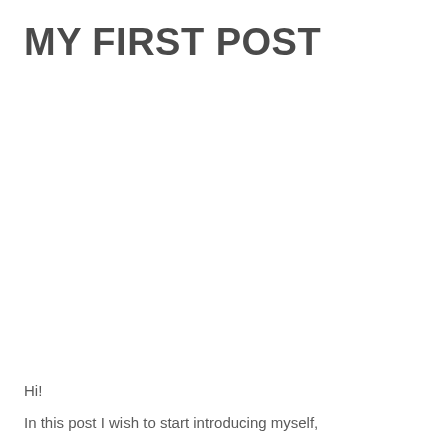MY FIRST POST
Hi!
In this post I wish to start introducing myself,